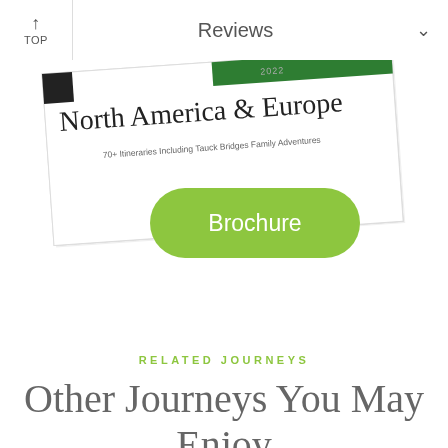TOP | Reviews
[Figure (illustration): A tilted white brochure card showing '2022 North America & Europe' text with a green banner at top, overlaid by a large green rounded rectangular button labeled 'Brochure']
RELATED JOURNEYS
Other Journeys You May Enjoy